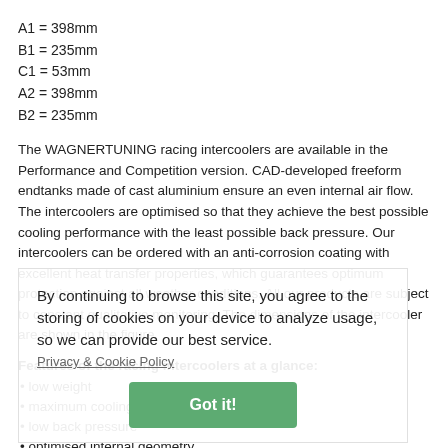A1 = 398mm
B1 = 235mm
C1 = 53mm
A2 = 398mm
B2 = 235mm
The WAGNERTUNING racing intercoolers are available in the Performance and Competition version. CAD-developed freeform endtanks made of cast aluminium ensure an even internal air flow. The intercoolers are optimised so that they achieve the best possible cooling performance with the least possible back pressure. Our intercoolers can be ordered with an anti-corrosion coating with excellent heat transfer properties, which guarantees optimum protection against all weather conditions. All our products are subject to constant qualitative monitoring. The dimensions of the intercooler are shown in the figure.
Features of the racing intercoolers at a glance:
low weight
maximum cooling effect
low back pressure
optimised internal geometry
casting endtanks with air ducts for streamlined airflow
Delivery:
1 intercooler
2 connection flange plates
2 seals
mounting material